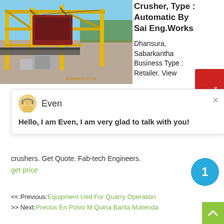[Figure (photo): Industrial stone crusher machine with yellow steel frame structure at a quarry site, timestamp 2010/09/23 15:14]
Crusher, Type : Automatic By Sai Eng.Works
Dhansura, Sabarkantha
Business Type : Retailer. View
[Figure (screenshot): Chat overlay popup with avatar of 'Even' and message: Hello, I am Even, I am very glad to talk with you!]
crushers. Get Quote. Fab-tech Engineers.
get price
<< Previous:Equipment Ued For Quarry Operation
>> Next:Precios En Polvo M Quina Barita Molienda